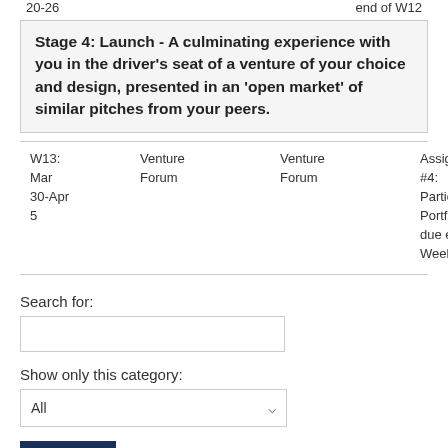Stage 4: Launch - A culminating experience with you in the driver's seat of a venture of your choice and design, presented in an 'open market' of similar pitches from your peers.
| Week | Topic | Activity | Assessment |
| --- | --- | --- | --- |
| W13: Mar 30-Apr 5 | Venture Forum | Venture Forum | Assignment #4: Participation Portfolio due end of Week 13. |
Search for:
Show only this category:
Search